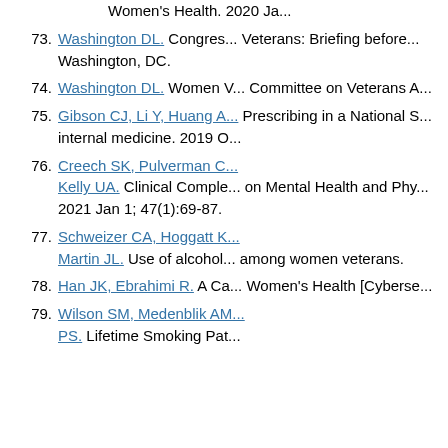(continuation) Women's Health. 2020 Ja...
73. Washington DL. Congress... Veterans: Briefing before... Washington, DC.
74. Washington DL. Women V... Committee on Veterans A...
75. Gibson CJ, Li Y, Huang A... Prescribing in a National S... internal medicine. 2019 O...
76. Creech SK, Pulverman C... Kelly UA. Clinical Comple... on Mental Health and Phy... 2021 Jan 1; 47(1):69-87.
77. Schweizer CA, Hoggatt K... Martin JL. Use of alcohol... among women veterans.
78. Han JK, Ebrahimi R. A Ca... Women's Health [Cyberse...
79. Wilson SM, Medenblik AM... PS. Lifetime Smoking Pat...